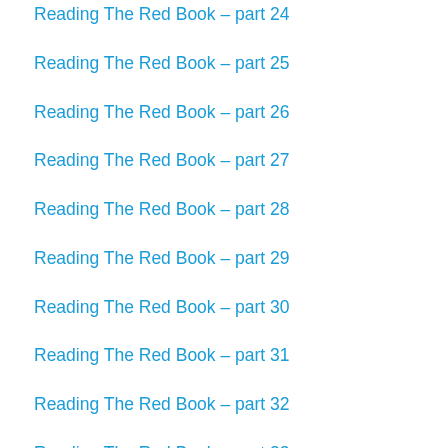Reading The Red Book – part 24
Reading The Red Book – part 25
Reading The Red Book – part 26
Reading The Red Book – part 27
Reading The Red Book – part 28
Reading The Red Book – part 29
Reading The Red Book – part 30
Reading The Red Book – part 31
Reading The Red Book – part 32
Reading The Red Book – part 33
Reading The Red Book – part 34